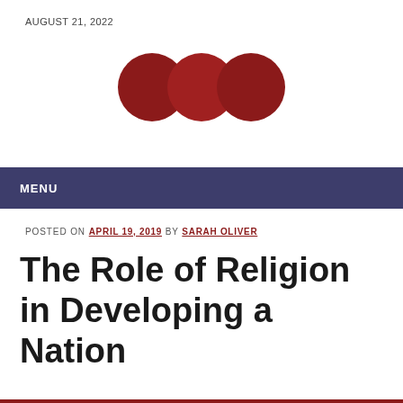AUGUST 21, 2022
[Figure (logo): Three dark red circles side by side forming a logo]
MENU
POSTED ON APRIL 19, 2019 BY SARAH OLIVER
The Role of Religion in Developing a Nation